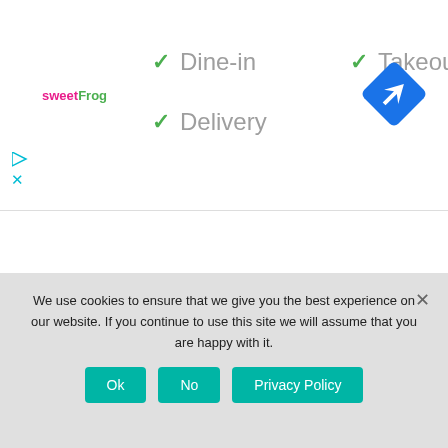[Figure (logo): sweetFrog logo in pink and green text]
✓ Dine-in
✓ Takeout
✓ Delivery
[Figure (illustration): Blue diamond navigation/directions icon with white arrow]
[Figure (illustration): Collapse/chevron up button and search bar]
POPULAR POSTS
We use cookies to ensure that we give you the best experience on our website. If you continue to use this site we will assume that you are happy with it.
Ok   No   Privacy Policy